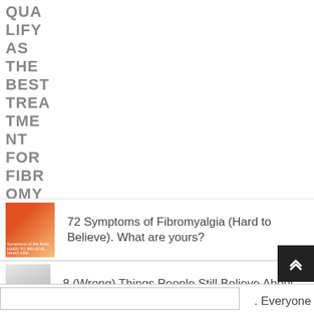QUALIFY AS THE BEST TREATMENT FOR FIBROMYALGIA
[Figure (photo): Red/orange fibromyalgia-related image thumbnail]
72 Symptoms of Fibromyalgia (Hard to Believe). What are yours?
[Figure (photo): Woman holding her head thumbnail]
8 (Wrong) Things People Still Believe About Fibromyalgia – and the Truth
. Everyone